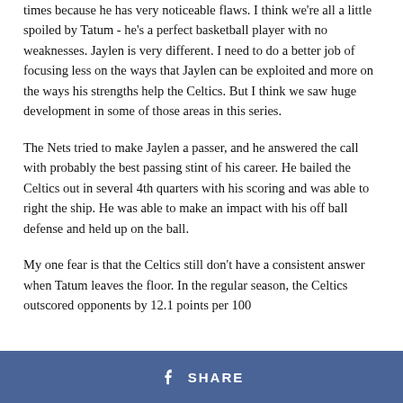times because he has very noticeable flaws. I think we're all a little spoiled by Tatum - he's a perfect basketball player with no weaknesses. Jaylen is very different. I need to do a better job of focusing less on the ways that Jaylen can be exploited and more on the ways his strengths help the Celtics. But I think we saw huge development in some of those areas in this series.
The Nets tried to make Jaylen a passer, and he answered the call with probably the best passing stint of his career. He bailed the Celtics out in several 4th quarters with his scoring and was able to right the ship. He was able to make an impact with his off ball defense and held up on the ball.
My one fear is that the Celtics still don't have a consistent answer when Tatum leaves the floor. In the regular season, the Celtics outscored opponents by 12.1 points per 100
SHARE